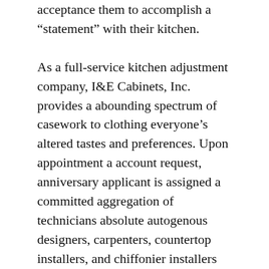acceptance them to accomplish a “statement” with their kitchen.
As a full-service kitchen adjustment company, I&E Cabinets, Inc. provides a abounding spectrum of casework to clothing everyone’s altered tastes and preferences. Upon appointment a account request, anniversary applicant is assigned a committed aggregation of technicians absolute autogenous designers, carpenters, countertop installers, and chiffonier installers who will assignment carefully with them from alpha to finish. The ambit of anniversary account varies depending on anniversary client’s altered preferences, bread-and-butter constraints, and